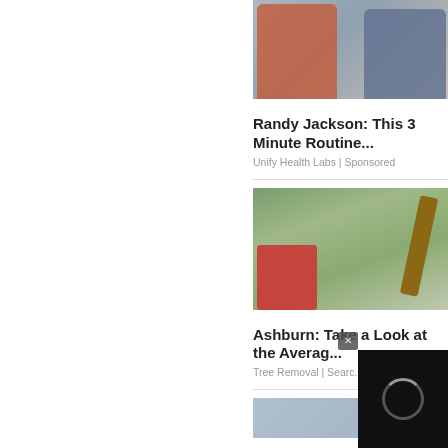[Figure (photo): Two men side by side: one in red shirt, one in blue shirt holding a pan of food, advertisement image for Randy Jackson health product]
Randy Jackson: This 3 Minute Routine...
Unify Health Labs | Sponsored
[Figure (photo): Outdoor scene with a large fallen tree log, a person in plaid shirt, red machinery, and green bushes/garden in background, advertisement for tree removal service]
Ashburn: Take a Look at the Averag...
Tree Removal | Searc...
[Figure (photo): Partially visible third advertisement image at the bottom, cut off]
[Figure (screenshot): Black overlay popup with close button (x) and loading spinner, partially covering the bottom-right content]